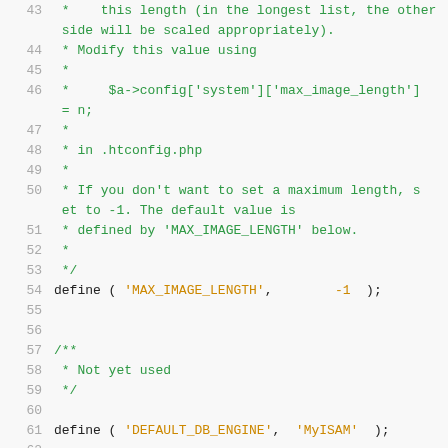[Figure (screenshot): Source code snippet showing PHP configuration file with line numbers 43-62. Lines 43-53 contain green comment text about max_image_length setting. Line 54 shows define('MAX_IMAGE_LENGTH', -1); with orange string and number. Lines 57-59 show a comment 'Not yet used'. Line 61 shows define('DEFAULT_DB_ENGINE', 'MyISAM'); with orange strings.]